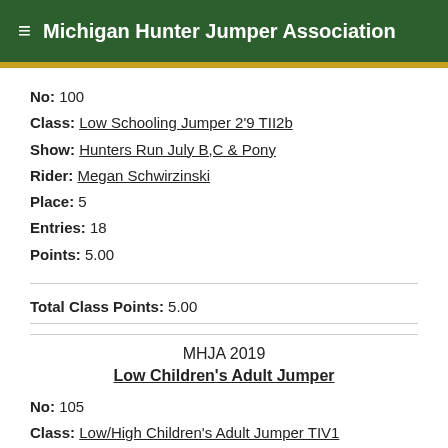Michigan Hunter Jumper Association
No: 100
Class: Low Schooling Jumper 2'9 TII2b
Show: Hunters Run July B,C & Pony
Rider: Megan Schwirzinski
Place: 5
Entries: 18
Points: 5.00
Total Class Points: 5.00
MHJA 2019
Low Children's Adult Jumper
No: 105
Class: Low/High Children's Adult Jumper TIV1
Show: HHF March B, C & Pony
Rider: Megan Schwirzinski